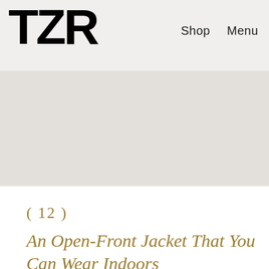TZR   Shop   Menu
[Figure (photo): Large hero image area, light gray/beige background, no visible image content]
( 12 )
An Open-Front Jacket That You Can Wear Indoors